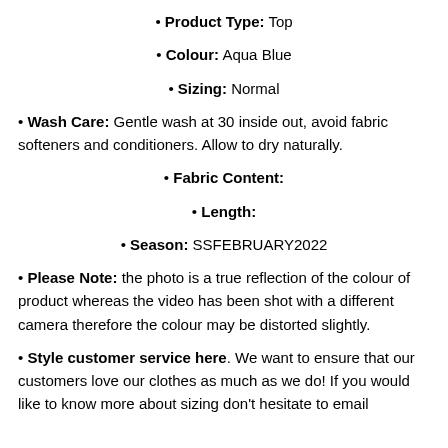Product Type: Top
Colour: Aqua Blue
Sizing: Normal
Wash Care: Gentle wash at 30 inside out, avoid fabric softeners and conditioners. Allow to dry naturally.
Fabric Content:
Length:
Season: SSFEBRUARY2022
Please Note: the photo is a true reflection of the colour of product whereas the video has been shot with a different camera therefore the colour may be distorted slightly.
Style customer service here. We want to ensure that our customers love our clothes as much as we do! If you would like to know more about sizing don't hesitate to email